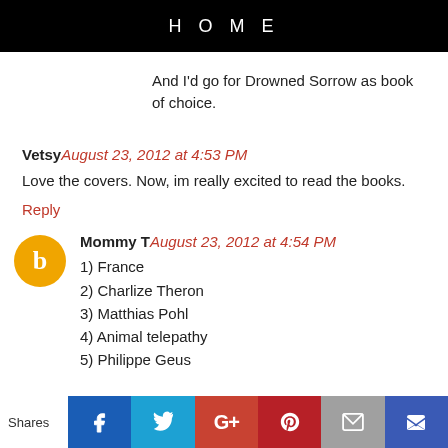HOME
And I'd go for Drowned Sorrow as book of choice.
Vetsy August 23, 2012 at 4:53 PM
Love the covers. Now, im really excited to read the books.
Reply
Mommy T August 23, 2012 at 4:54 PM
1) France
2) Charlize Theron
3) Matthias Pohl
4) Animal telepathy
5) Philippe Geus